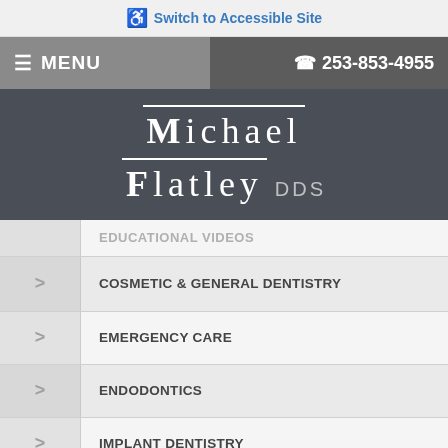Switch to Accessible Site
☰ MENU  ☎ 253-853-4955
Michael Flatley DDS
EDUCATIONAL VIDEOS
COSMETIC & GENERAL DENTISTRY
EMERGENCY CARE
ENDODONTICS
IMPLANT DENTISTRY
ORAL HEALTH